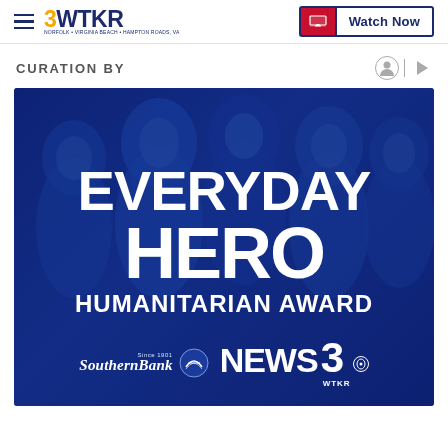3WTKR | Watch Now
CURATION BY
[Figure (photo): Everyday Hero Humanitarian Award promotional image featuring a group of smiling diverse people with a blue overlay. Text reads: EVERYDAY HERO HUMANITARIAN AWARD with Southern Bank and NEWS 3 WTKR logos at the bottom.]